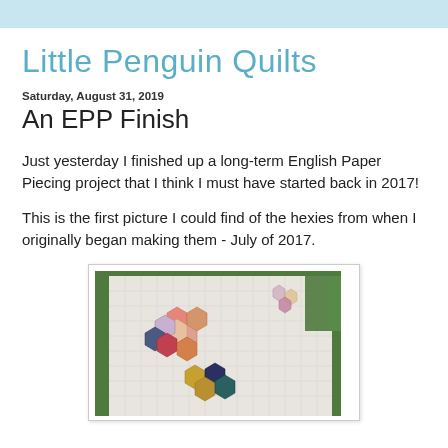Little Penguin Quilts
Saturday, August 31, 2019
An EPP Finish
Just yesterday I finished up a long-term English Paper Piecing project that I think I must have started back in 2017!
This is the first picture I could find of the hexies from when I originally began making them - July of 2017.
[Figure (photo): Photo of hexagon quilt pieces (EPP - English Paper Piecing) arranged on a white gridded cutting mat on a green cutting mat. Various colorful fabric hexagons in pinks, oranges, golds, and dark colors are visible in different stages of arrangement.]